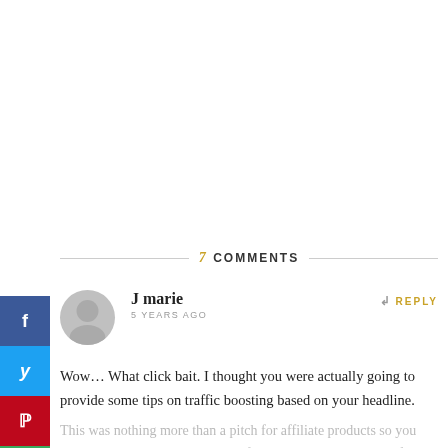7 COMMENTS
J marie
5 YEARS AGO
REPLY
Wow... What click bait. I thought you were actually going to provide some tips on traffic boosting based on your headline.
This was nothing more than a pitch for affiliate products so you can make a buck. Had you listed five or so tactics that work for